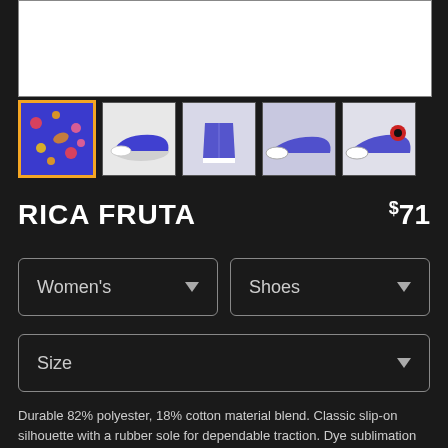[Figure (photo): Main product image area (white box) at top, partially visible]
[Figure (photo): Row of 5 product thumbnail images: fruit pattern swatch, shoe side view, shoe front view, shoe profile, shoe with red detail]
RICA FRUTA
$71
Women's
Shoes
Size
Durable 82% polyester, 18% cotton material blend. Classic slip-on silhouette with a rubber sole for dependable traction. Dye sublimation heat transfer print. Removable in-sole. Standard